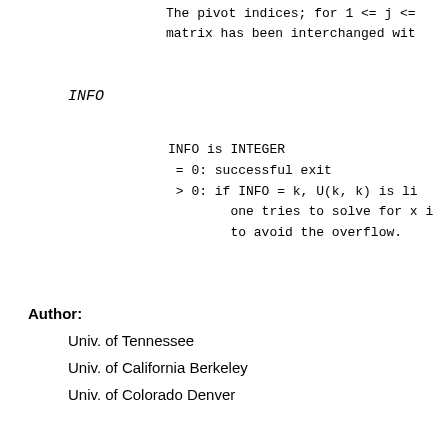The pivot indices; for 1 <= j <=
matrix has been interchanged wit
INFO
INFO is INTEGER
= 0: successful exit
> 0: if INFO = k, U(k, k) is li
     one tries to solve for x i
     to avoid the overflow.
Author:
Univ. of Tennessee
Univ. of California Berkeley
Univ. of Colorado Denver